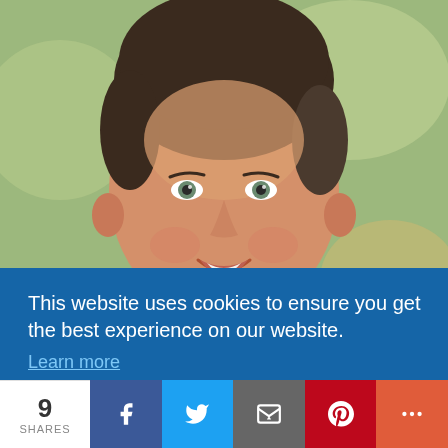[Figure (photo): Headshot of a woman with short dark hair, smiling, wearing a dark blazer and chain necklace, with a blurred green outdoor background.]
This website uses cookies to ensure you get the best experience on our website.
Learn more
Got it!
as
to
9
SHARES